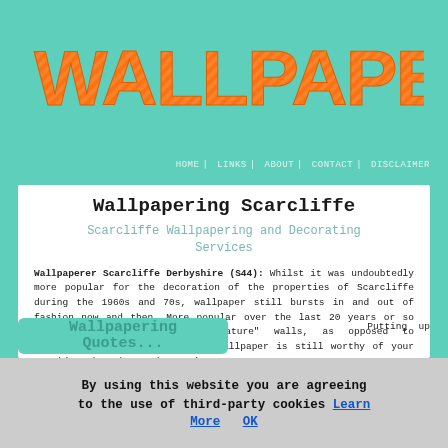[Figure (logo): WALLPAPERERS logo in large orange block letters with diagonal stripe texture on teal/mint green background]
HOME | LINKS | ABOUT | CONTACT | DISCLAIMER
Wallpapering Scarcliffe
Scarcliffe Wallpapering and Decorating Services
Wallpaperer Scarcliffe Derbyshire (S44): Whilst it was undoubtedly more popular for the decoration of the properties of Scarcliffe during the 1960s and 70s, wallpaper still bursts in and out of fashion now and then. More popular over the last 20 years or so for decorating individual "feature" walls, as opposed to embellishing the entire house, wallpaper is still worthy of your consideration when redecorating.
Putting up
By using this website you are agreeing to the use of third-party cookies Learn More OK